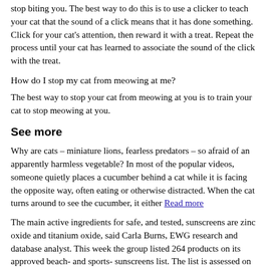stop biting you. The best way to do this is to use a clicker to teach your cat that the sound of a click means that it has done something. Click for your cat's attention, then reward it with a treat. Repeat the process until your cat has learned to associate the sound of the click with the treat.
How do I stop my cat from meowing at me?
The best way to stop your cat from meowing at you is to train your cat to stop meowing at you.
See more
Why are cats – miniature lions, fearless predators – so afraid of an apparently harmless vegetable? In most of the popular videos, someone quietly places a cucumber behind a cat while it is facing the opposite way, often eating or otherwise distracted. When the cat turns around to see the cucumber, it either Read more
The main active ingredients for safe, and tested, sunscreens are zinc oxide and titanium oxide, said Carla Burns, EWG research and database analyst. This week the group listed 264 products on its approved beach- and sports- sunscreens list. The list is assessed on safety of ingredients, UV light and cost to consumers. Zinc oxide is a mineral that scatters, reflects and absorbs harmful sun